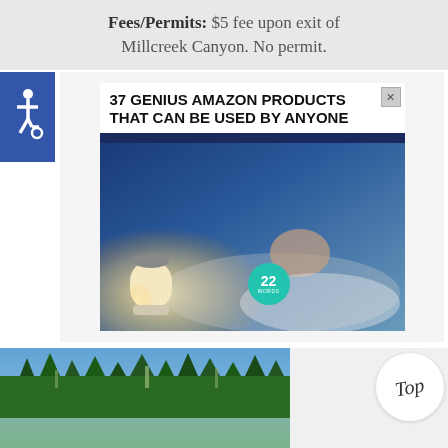Fees/Permits: $5 fee upon exit of Millcreek Canyon. No permit.
[Figure (illustration): Blue accessibility icon (wheelchair symbol) on blue square background]
[Figure (photo): Advertisement: '37 Genius Amazon Products That Can Be Used By Anyone' showing a person sleeping next to a glowing lamp, with a 22 Words badge]
[Figure (photo): Forest scene with tall evergreen and aspen trees against blue sky, with a white circular 'Top' badge overlay, and water reflection at bottom]